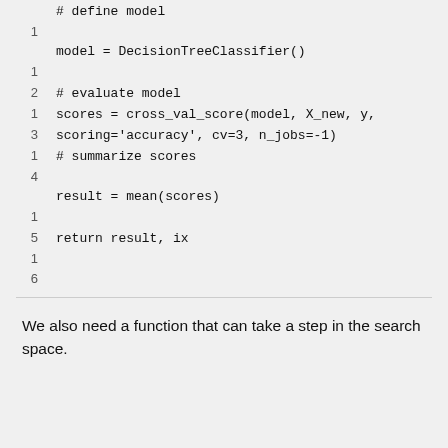# define model
1
model = DecisionTreeClassifier()
1
2   # evaluate model
1   scores = cross_val_score(model, X_new, y,
3   scoring='accuracy', cv=3, n_jobs=-1)
1   # summarize scores
4
result = mean(scores)
1
5   return result, ix
1
6
We also need a function that can take a step in the search space.